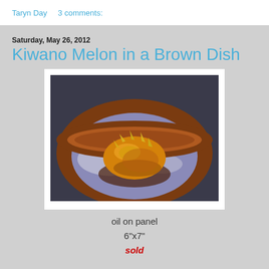Taryn Day    3 comments:
Saturday, May 26, 2012
Kiwano Melon in a Brown Dish
[Figure (photo): Oil painting of a kiwano melon (horned melon) resting inside a brown ceramic dish with a blue-purple interior, painted in oil on panel.]
oil on panel
6"x7"
sold